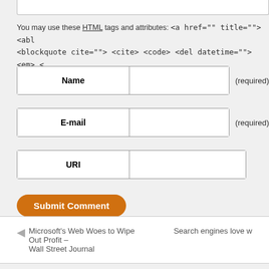You may use these HTML tags and attributes: <a href="" title=""> <abl <blockquote cite=""> <cite> <code> <del datetime=""> <em> <
Name (required)
E-mail (required)
URI
Submit Comment
Microsoft's Web Woes to Wipe Out Profit – Wall Street Journal
Search engines love w
© 2012 Link Building Tools - Free Search Engine Promotion